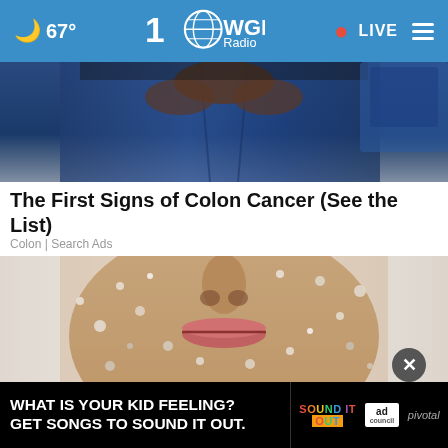67° WGN Radio LIVE
[Figure (photo): Close-up of person's midsection wearing blue jeans, hands clasped]
The First Signs of Colon Cancer (See the List)
Colon | Search Ads
[Figure (photo): Close-up of a person's face covered in sand or coarse material, showing nose and lips]
[Figure (infographic): Ad banner: WHAT IS YOUR KID FEELING? GET SONGS TO SOUND IT OUT. Sound It Out ad with Ad Council and Pivotal logos]